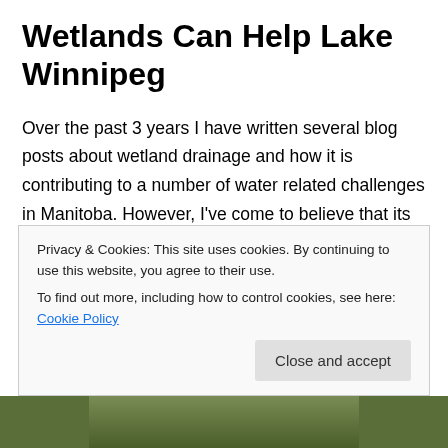Wetlands Can Help Lake Winnipeg
Over the past 3 years I have written several blog posts about wetland drainage and how it is contributing to a number of water related challenges in Manitoba. However, I've come to believe that its still a subject that many people don't know much about so when I receive a great article like this one, “I Didn’t Know Wetlands Did That!” by Jim Ringelman, a retired scientist from Ducks Unlimited in North Dakota, I want to share it as widely as possible and
Privacy & Cookies: This site uses cookies. By continuing to use this website, you agree to their use.
To find out more, including how to control cookies, see here: Cookie Policy
Close and accept
[Figure (photo): Green outdoor nature photo strip at bottom of page]